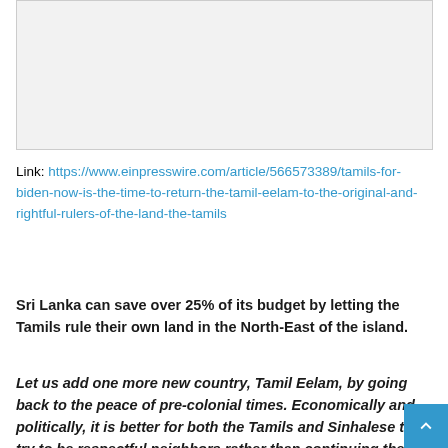[Figure (other): Light gray rectangular image placeholder with border]
Link: https://www.einpresswire.com/article/566573389/tamils-for-biden-now-is-the-time-to-return-the-tamil-eelam-to-the-original-and-rightful-rulers-of-the-land-the-tamils
Sri Lanka can save over 25% of its budget by letting the Tamils rule their own land in the North-East of the island.
Let us add one more new country, Tamil Eelam, by going back to the peace of pre-colonial times. Economically and politically, it is better for both the Tamils and Sinhalese to try to be respectful neighbors rather than continuing the